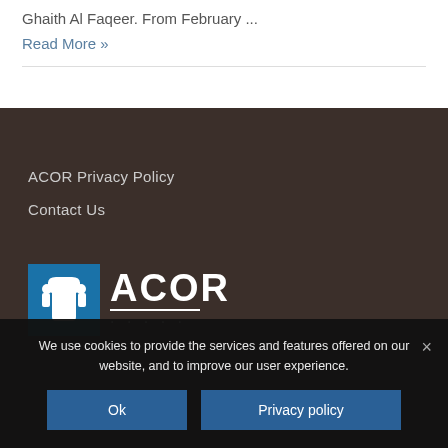Ghaith Al Faqeer. From February ...
Read More »
ACOR Privacy Policy
Contact Us
[Figure (logo): ACOR logo with blue box containing white bird/scroll figure on left, and ACOR text in white block letters on right]
We use cookies to provide the services and features offered on our website, and to improve our user experience.
Ok
Privacy policy
×